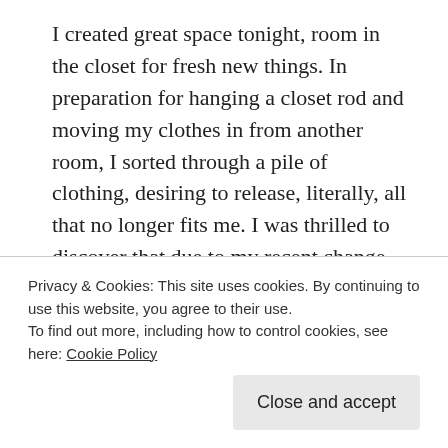I created great space tonight, room in the closet for fresh new things. In preparation for hanging a closet rod and moving my clothes in from another room, I sorted through a pile of clothing, desiring to release, literally, all that no longer fits me. I was thrilled to discover that due to my recent change to a plant based diet, most of my clothes were too big. After sorting and trying on, the majority of my wardrobe went into bags, ready to be donated to a local organization.
I am creating physical space for new clothes that fit better, and creative space to determine what I enjoy
Privacy & Cookies: This site uses cookies. By continuing to use this website, you agree to their use.
To find out more, including how to control cookies, see here: Cookie Policy
books to sort through, empty picture frames to relocate